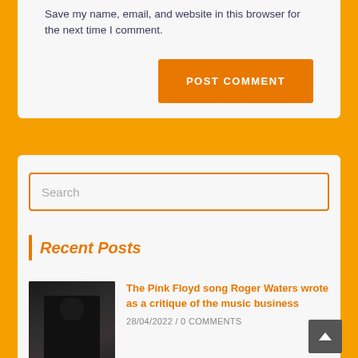Save my name, email, and website in this browser for the next time I comment.
POST COMMENT
Search
Recent Posts
[Figure (photo): Photo of a man playing an electric guitar on stage, dark background]
The Pink Floyd song Roger Waters wrote as a critique of the music business
28/04/2022 / 0 COMMENTS